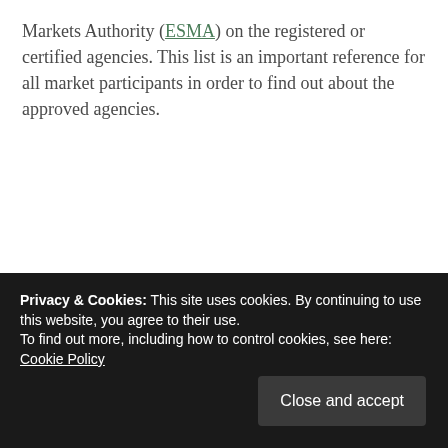Markets Authority (ESMA) on the registered or certified agencies. This list is an important reference for all market participants in order to find out about the approved agencies.
In order to make it easy to find it, the list of authorized credit rating agencies was linked e.g. from the website everling.de from the beginning. Since 1998, long before the word “blog” found its way into the German language, the website
Privacy & Cookies: This site uses cookies. By continuing to use this website, you agree to their use.
To find out more, including how to control cookies, see here: Cookie Policy